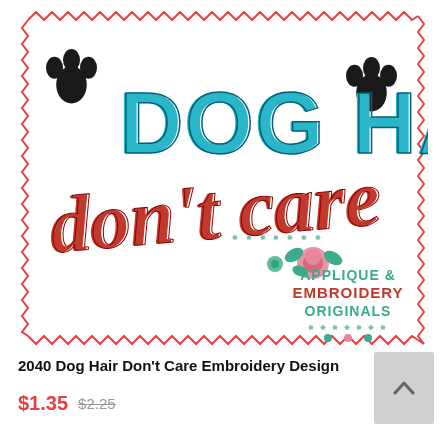[Figure (illustration): Embroidery design product image showing 'DOG HAIR don't care' text with dog paw prints and an 'Applique & Embroidery Originals' logo badge, on a white fabric with red zig-zag border stitching.]
2040 Dog Hair Don't Care Embroidery Design
$1.35  $2.25